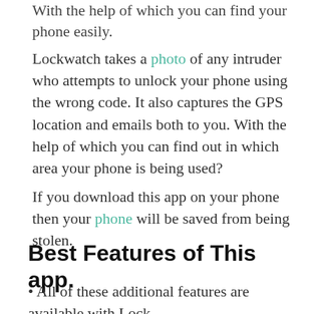With the help of which you can find your phone easily.
Lockwatch takes a photo of any intruder who attempts to unlock your phone using the wrong code. It also captures the GPS location and emails both to you. With the help of which you can find out in which area your phone is being used?
If you download this app on your phone then your phone will be saved from being stolen.
Best Features of This app.
All of these additional features are available with Lock